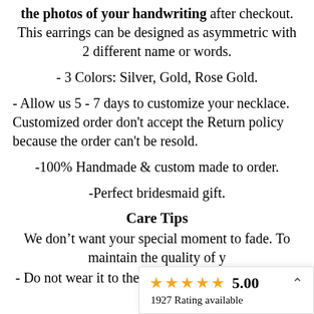the photos of your handwriting after checkout. This earrings can be designed as asymmetric with 2 different name or words.
- 3 Colors: Silver, Gold, Rose Gold.
- Allow us 5 - 7 days to customize your necklace. Customized order don't accept the Return policy because the order can't be resold.
-100% Handmade & custom made to order.
-Perfect bridesmaid gift.
Care Tips
We don't want your special moment to fade. To maintain the quality of y
- Do not wear it to the po
[Figure (other): Rating overlay showing 5 gold stars, score 5.00, and 1927 Rating available, with a chevron/caret icon]